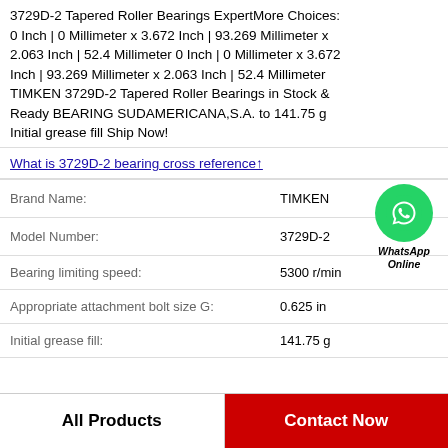3729D-2 Tapered Roller Bearings ExpertMore Choices: 0 Inch | 0 Millimeter x 3.672 Inch | 93.269 Millimeter x 2.063 Inch | 52.4 Millimeter 0 Inch | 0 Millimeter x 3.672 Inch | 93.269 Millimeter x 2.063 Inch | 52.4 Millimeter TIMKEN 3729D-2 Tapered Roller Bearings in Stock & Ready BEARING SUDAMERICANA,S.A. to 141.75 g Initial grease fill Ship Now!
What is 3729D-2 bearing cross reference↑
| Property | Value |
| --- | --- |
| Brand Name: | TIMKEN |
| Model Number: | 3729D-2 |
| Bearing limiting speed: | 5300 r/min |
| Appropriate attachment bolt size G: | 0.625 in |
| Initial grease fill: | 141.75 g |
[Figure (logo): WhatsApp Online green circle icon with phone symbol and text WhatsApp Online]
All Products
Contact Now